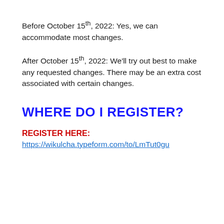Before October 15th, 2022: Yes, we can accommodate most changes.
After October 15th, 2022: We'll try out best to make any requested changes. There may be an extra cost associated with certain changes.
WHERE DO I REGISTER?
REGISTER HERE:
https://wikulcha.typeform.com/to/LmTut0gu